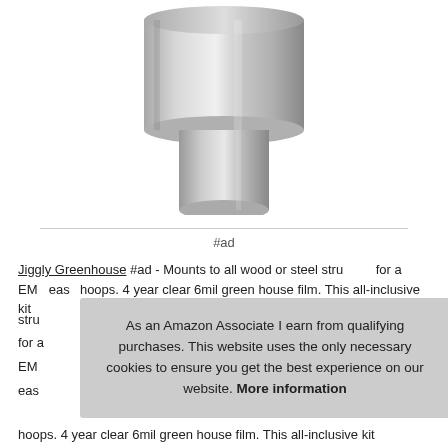[Figure (photo): Product photo of a silver/aluminum cylindrical fitting or connector, shown against a white background. The top portion is wider and the bottom narrows to a smaller cylinder.]
#ad
Jiggly Greenhouse #ad - Mounts to all wood or steel structures for a sturdier greenhouse. Includes everything for a complete greenhouse, plastic greenhouse covering for EMT conduit hoops, zip ties and tape for easy installation. Use any size EMT conduit for hoops. 4 year clear 6mil green house film. This all-inclusive kit
As an Amazon Associate I earn from qualifying purchases. This website uses the only necessary cookies to ensure you get the best experience on our website. More information